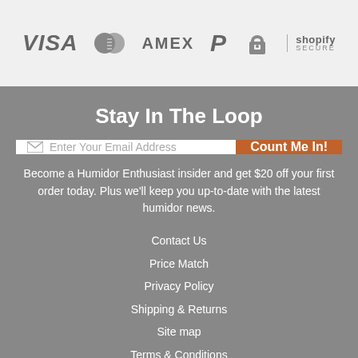[Figure (logo): Payment method logos: VISA, Mastercard, AMEX, PayPal, lock icon, Shopify Secure]
Stay In The Loop
Enter Your Email Address
Count Me In!
Become a Humidor Enthusiast insider and get $20 off your first order today. Plus we'll keep you up-to-date with the latest humidor news.
Contact Us
Price Match
Privacy Policy
Shipping & Returns
Site map
Terms & Conditions